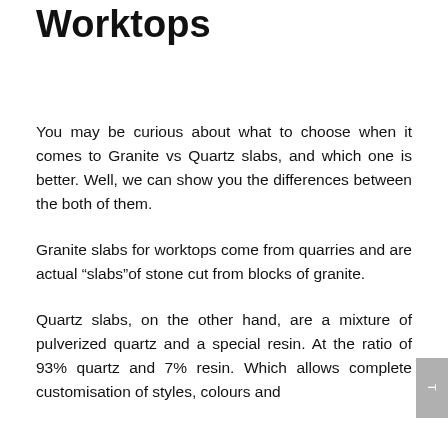Worktops
You may be curious about what to choose when it comes to Granite vs Quartz slabs, and which one is better. Well, we can show you the differences between the both of them.
Granite slabs for worktops come from quarries and are actual “slabs”of stone cut from blocks of granite.
Quartz slabs, on the other hand, are a mixture of pulverized quartz and a special resin. At the ratio of 93% quartz and 7% resin. Which allows complete customisation of styles, colours and...